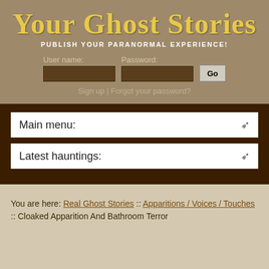Your Ghost Stories
PUBLISH YOUR PARANORMAL EXPERIENCE!
User name: [input] Password: [input] Go
Sign up | Forgot your password?
Main menu: ▾
Latest hauntings: ▾
You are here: Real Ghost Stories :: Apparitions / Voices / Touches :: Cloaked Apparition And Bathroom Terror